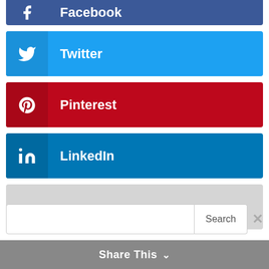[Figure (infographic): Social media share buttons: Facebook (dark blue, partially cropped at top), Twitter (light blue), Pinterest (red), LinkedIn (blue), and a grey 'more' button with three dots. Below is a search bar with a 'Search' button, and a 'Share This' bar at the bottom.]
Share This ∨